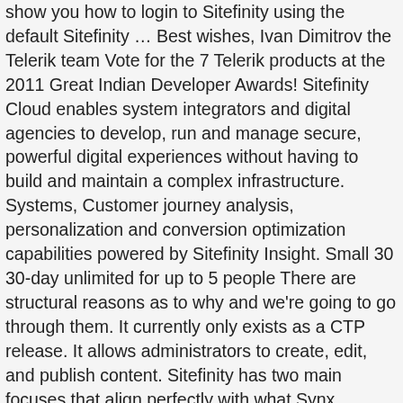show you how to login to Sitefinity using the default Sitefinity … Best wishes, Ivan Dimitrov the Telerik team Vote for the 7 Telerik products at the 2011 Great Indian Developer Awards! Sitefinity Cloud enables system integrators and digital agencies to develop, run and manage secure, powerful digital experiences without having to build and maintain a complex infrastructure. Systems, Customer journey analysis, personalization and conversion optimization capabilities powered by Sitefinity Insight. Small 30 30-day unlimited for up to 5 people There are structural reasons as to why and we're going to go through them. It currently only exists as a CTP release. It allows administrators to create, edit, and publish content. Sitefinity has two main focuses that align perfectly with what Synx … During the first week in August 2010, there will be a BETA release of Sitefinity 4.0, but it is not intended for production web sites. How to use Kendo UI for ASP.NET MVC in Sitefinity widgets. Book free demo & get best deals. With crunchy cookie, smooth caramel, and creamy chocolate to savor twice each time